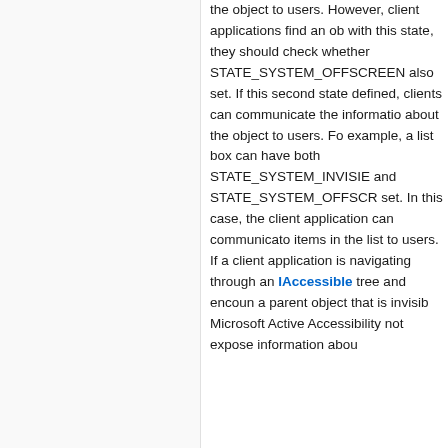the object to users. However, client applications find an object with this state, they should check whether STATE_SYSTEM_OFFSCREEN also set. If this second state defined, clients can communicate the information about the object to users. For example, a list box can have both STATE_SYSTEM_INVISIBLE and STATE_SYSTEM_OFFSCREEN set. In this case, the client application can communicate items in the list to users.
If a client application is navigating through an IAccessible tree and encounters a parent object that is invisible, Microsoft Active Accessibility does not expose information about